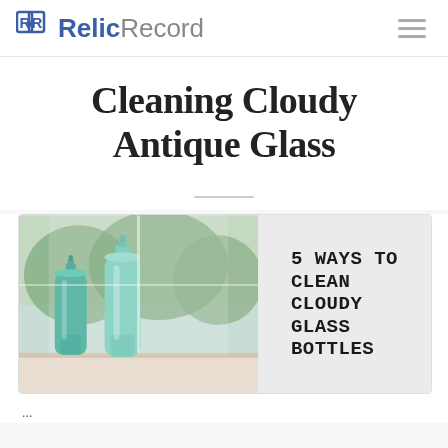RR RelicRecord [hamburger menu icon]
Cleaning Cloudy Antique Glass
[Figure (photo): Two antique aqua/teal glass bottles sitting on a windowsill with trees visible in background, next to a text overlay reading '5 WAYS TO CLEAN CLOUDY GLASS BOTTLES' on a light gray background]
...